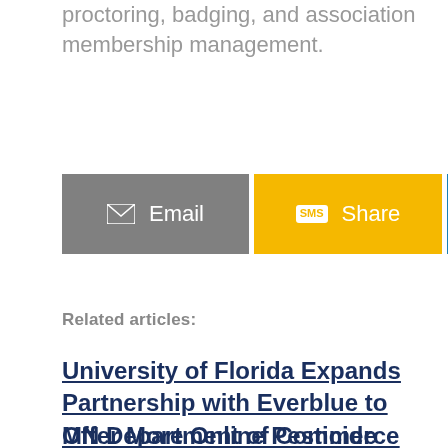proctoring, badging, and association membership management.
[Figure (other): Social sharing buttons: Email (grey), Share via SMS (yellow/gold), LinkedIn (blue)]
Related articles:
University of Florida Expands Partnership with Everblue to Offer More Online Pesticide Exams.
MN Department of Commerce Partners with Everblue. (truncated)